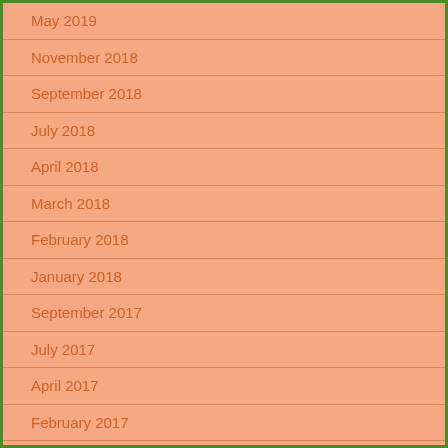May 2019
November 2018
September 2018
July 2018
April 2018
March 2018
February 2018
January 2018
September 2017
July 2017
April 2017
February 2017
December 2016
September 2016
May 2016